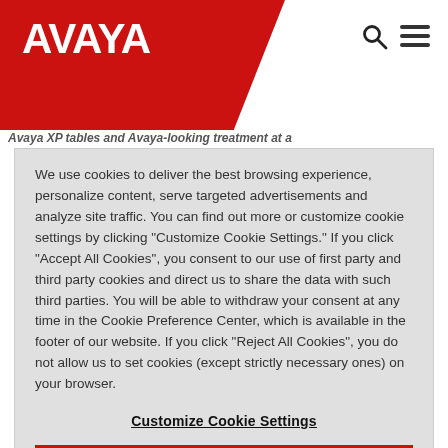[Figure (logo): Avaya logo - white text on red background with diagonal cut]
Avaya XP tables and Avaya-looking treatment at a
We use cookies to deliver the best browsing experience, personalize content, serve targeted advertisements and analyze site traffic. You can find out more or customize cookie settings by clicking "Customize Cookie Settings." If you click "Accept All Cookies", you consent to our use of first party and third party cookies and direct us to share the data with such third parties. You will be able to withdraw your consent at any time in the Cookie Preference Center, which is available in the footer of our website. If you click "Reject All Cookies", you do not allow us to set cookies (except strictly necessary ones) on your browser.
Customize Cookie Settings
Reject All Cookies
Accept All Cookies